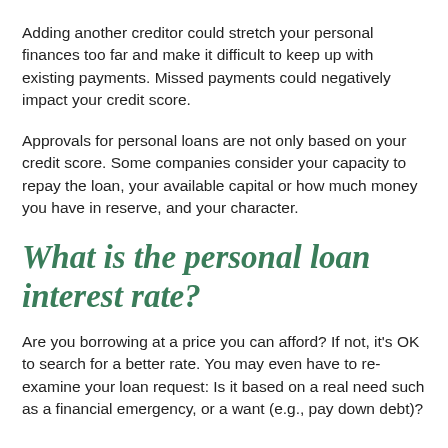Adding another creditor could stretch your personal finances too far and make it difficult to keep up with existing payments. Missed payments could negatively impact your credit score.
Approvals for personal loans are not only based on your credit score. Some companies consider your capacity to repay the loan, your available capital or how much money you have in reserve, and your character.
What is the personal loan interest rate?
Are you borrowing at a price you can afford? If not, it's OK to search for a better rate. You may even have to re-examine your loan request: Is it based on a real need such as a financial emergency, or a want (e.g., pay down debt)?